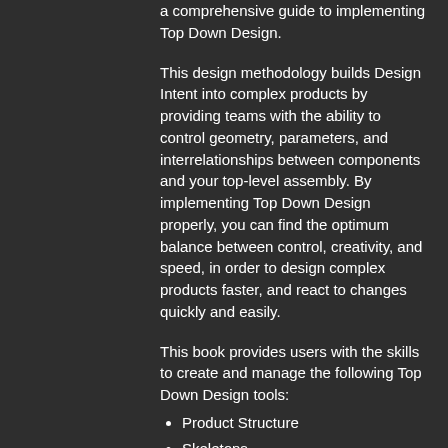a comprehensive guide to implementing Top Down Design.
This design methodology builds Design Intent into complex products by providing teams with the ability to control geometry, parameters, and interrelationships between components and your top-level assembly. By implementing Top Down Design properly, you can find the optimum balance between control, creativity, and speed, in order to design complex products faster, and react to changes quickly and easily.
This book provides users with the skills to create and manage the following Top Down Design tools:
Product Structure
Skeletons
Data Sharing Features
Notebooks
In addition, it covers Management Tools including...